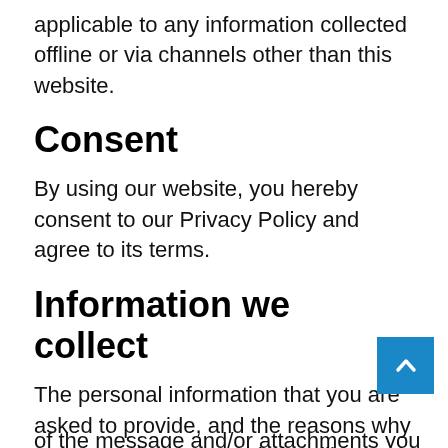applicable to any information collected offline or via channels other than this website.
Consent
By using our website, you hereby consent to our Privacy Policy and agree to its terms.
Information we collect
The personal information that you are asked to provide, and the reasons why you are asked to provide it, will be made clear to you at the point we ask you to provide your personal information.
If you contact us directly, we may receive additional information about you such as your name, email address, phone number, the content of the message and/or attachments you may send